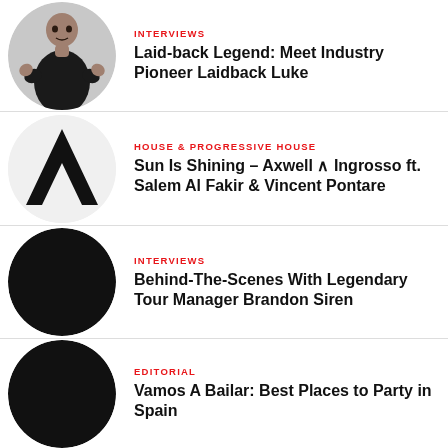INTERVIEWS | Laid-back Legend: Meet Industry Pioneer Laidback Luke
HOUSE & PROGRESSIVE HOUSE | Sun Is Shining – Axwell ∧ Ingrosso ft. Salem Al Fakir & Vincent Pontare
INTERVIEWS | Behind-The-Scenes With Legendary Tour Manager Brandon Siren
EDITORIAL | Vamos A Bailar: Best Places to Party in Spain